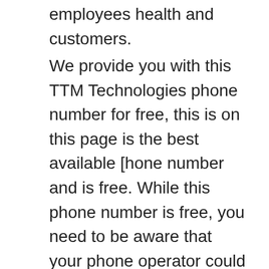employees health and customers.
We provide you with this TTM Technologies phone number for free, this is on this page is the best available [hone number and is free. While this phone number is free, you need to be aware that your phone operator could charge you in conjunction to your phone service contact. This TTM Technologies phone number, takes you directly to the main switch enabling to reach anyone you need in the company at normal working hours but note hours may change on holidays.